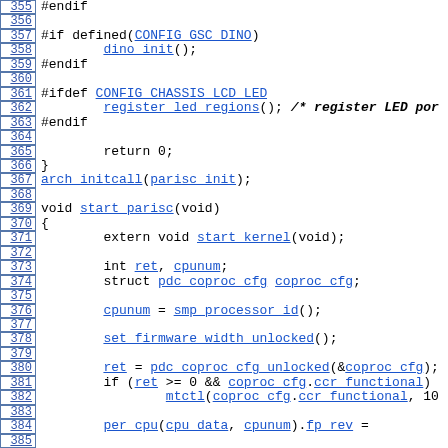[Figure (screenshot): Source code viewer showing C/C++ kernel initialization code, lines 355–385, with line numbers on left and syntax-highlighted/linked identifiers in blue underline.]